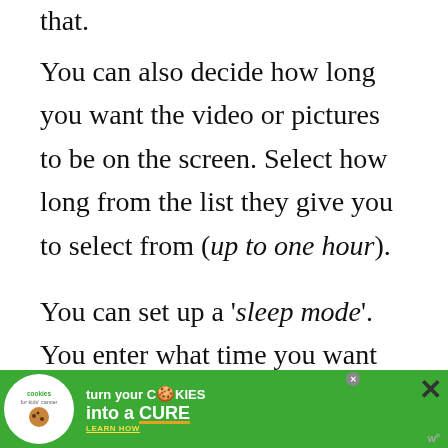that.
You can also decide how long you want the video or pictures to be on the screen. Select how long from the list they give you to select from (up to one hour).
You can set up a 'sleep mode'. You enter what time you want your frame to
[Figure (other): Advertisement banner for 'cookies for kids cancer' campaign: turn your COOKIES into a CURE LEARN HOW. Green background with cookie icon. Has close button X and small badge.]